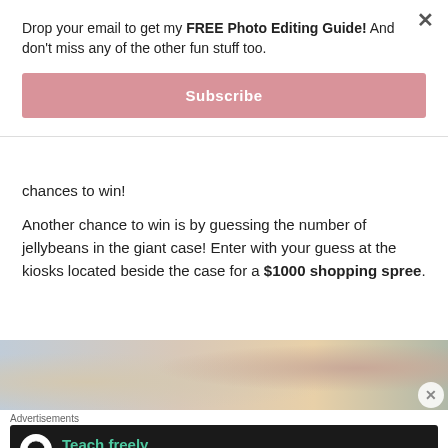Drop your email to get my FREE Photo Editing Guide! And don't miss any of the other fun stuff too.
Subscribe
chances to win!
Another chance to win is by guessing the number of jellybeans in the giant case! Enter with your guess at the kiosks located beside the case for a $1000 shopping spree.
[Figure (photo): Photo of a girl at a jellybean/candy display kiosk]
Advertisements
[Figure (infographic): Advertisement banner: Teach freely - Make money selling online courses. Dark background with white circle icon and teal text.]